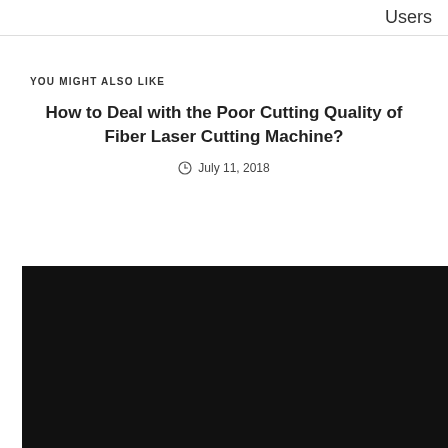Users
YOU MIGHT ALSO LIKE
How to Deal with the Poor Cutting Quality of Fiber Laser Cutting Machine?
July 11, 2018
[Figure (photo): Dark/black image, likely a photo of a fiber laser cutting machine in operation]